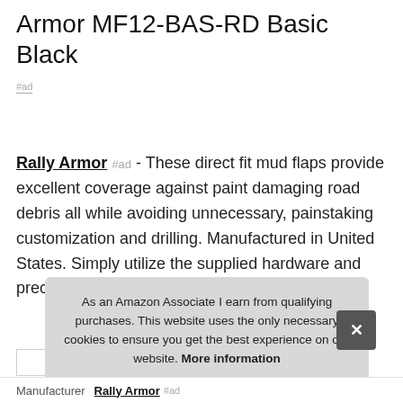Armor MF12-BAS-RD Basic Black
#ad
Rally Armor #ad - These direct fit mud flaps provide excellent coverage against paint damaging road debris all while avoiding unnecessary, painstaking customization and drilling. Manufactured in United States. Simply utilize the supplied hardware and precision engineered brackets to mount the flaps.
As an Amazon Associate I earn from qualifying purchases. This website uses the only necessary cookies to ensure you get the best experience on our website. More information
Manufacturer  Rally Armor #ad